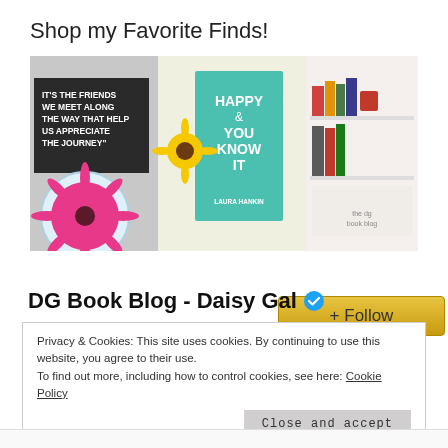Shop my Favorite Finds!
[Figure (photo): Blog banner collage: a letter board with inspirational quote, flowers and book covers including 'Happy & You Know It' by Laura Hankin, a daisy flower close-up, and a bookshelf display. A golden '+Follow' button overlaid at bottom right.]
DG Book Blog - Daisy Gal
Privacy & Cookies: This site uses cookies. By continuing to use this website, you agree to their use. To find out more, including how to control cookies, see here: Cookie Policy
Close and accept